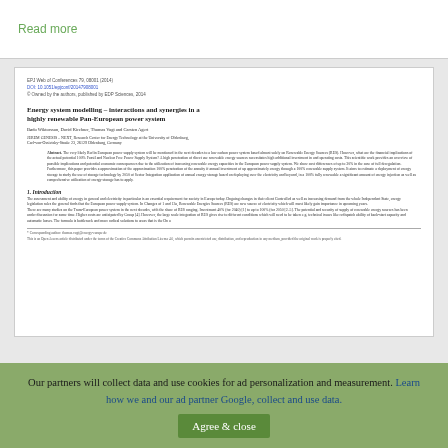Read more
EPJ Web of Conferences 79, 08001 (2014)
DOI: 10.1051/epjconf/20147908001
© Owned by the authors, published by EDP Sciences, 2014
Energy system modelling – interactions and synergies in a highly renewable Pan-European power system
Bødo Wiktorsson, David Kirchner, Thomas Vogt and Carsten Agert
JEREM GENESIS – NEXT, Research Center for Energy Technology at the University of Oldenburg, Carl-von-Ossietzky-Straße 23, 26129 Oldenburg, Germany
Abstract. The very likely Berlin European power supply system will be mentioned in the next decades to a low carbon power system based almost solely on Renewable Energy Sources (RES). However, what are the financial implications of the actual potential 100% Fossil and Nuclear Free Power Supply System? A high penetration of direct use renewable energy sources necessitates high additional investment in and operating costs. This scientific work provides an overview of possible implications and potential economic consequences due to the utilization of increasing renewable energy capacities in the European power supply system. We show cost differences of up to 30% in the case of full deregulation. Furthermore, this paper provides a approximation of the approximation 100% penetration of the annuity if annual investment of up approximately energy through a 100% renewable supply system. It aims to estimate a deployment of energy storage to study the use of storage technology by 2050 of Sector Integration application of annual energy storage based on deploying over the electricity and beyond, in a 100% fully renewable a significant amount of energy injection as well as comprehensive utilization of energy storage has to apply.
1. Introduction
The assessment and ability of energy in general and electricity in particular is an essential requirement for society in Europe today. Ongoing changes in their client Controlled as well as increasing demand from the whole Independent State, energy legislation rules the general finds that the European power supply system. In Changes of 1 and 13a, Renewable Energies Sources (RES) are new source of electricity which will most likely gain importance in upcoming years.
There are many studies on the Trans-European power system in the next decades, with the share of RES ranging. Investment 40% (for 2040) [1] to up to 100% (for 2050 [2–5]. The potential and security of supply of renewable energy sources has been under discussion for some time. Higher costs are anticipated by Group [4]. However, the large scale integration of RES gives rise to different conditions which will need to be taken e.g. technical issues like redispatch ability of back-start capacity and automatic losses. The formula is bottleneck and more radical solutions to areas that is the On a
* Corresponding author: thomas.vogt@energy-europe.de
This is an Open Access article distributed under the terms of the Creative Commons Attribution License 4.0, which permits unrestricted use, distribution, and reproduction in any medium, provided the original work is properly cited.
Our partners will collect data and use cookies for ad personalization and measurement. Learn how we and our ad partner Google, collect and use data.
Agree & close